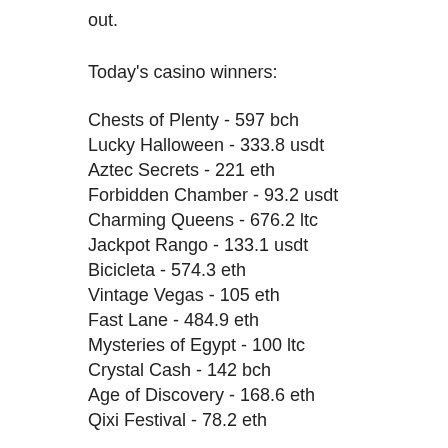out.
Today's casino winners:
Chests of Plenty - 597 bch
Lucky Halloween - 333.8 usdt
Aztec Secrets - 221 eth
Forbidden Chamber - 93.2 usdt
Charming Queens - 676.2 ltc
Jackpot Rango - 133.1 usdt
Bicicleta - 574.3 eth
Vintage Vegas - 105 eth
Fast Lane - 484.9 eth
Mysteries of Egypt - 100 ltc
Crystal Cash - 142 bch
Age of Discovery - 168.6 eth
Qixi Festival - 78.2 eth
Jurassic Park - 132.3 eth
Jewel Sea - 714.8 eth
New Games: